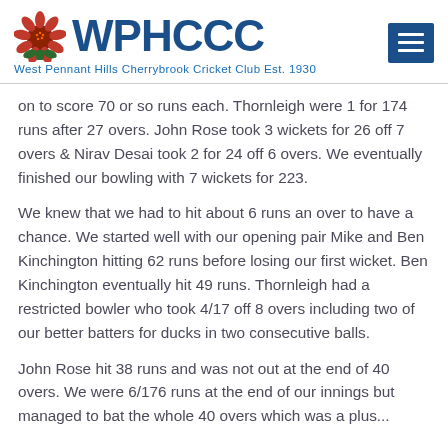WPHCCC — West Pennant Hills Cherrybrook Cricket Club Est. 1930
on to score 70 or so runs each. Thornleigh were 1 for 174 runs after 27 overs. John Rose took 3 wickets for 26 off 7 overs & Nirav Desai took 2 for 24 off 6 overs. We eventually finished our bowling with 7 wickets for 223.
We knew that we had to hit about 6 runs an over to have a chance. We started well with our opening pair Mike and Ben Kinchington hitting 62 runs before losing our first wicket. Ben Kinchington eventually hit 49 runs. Thornleigh had a restricted bowler who took 4/17 off 8 overs including two of our better batters for ducks in two consecutive balls.
John Rose hit 38 runs and was not out at the end of 40 overs. We were 6/176 runs at the end of our innings but managed to bat the whole 40 overs which was a plus...